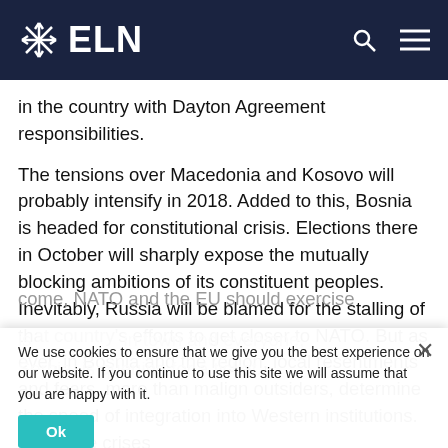ELN
in the country with Dayton Agreement responsibilities.
The tensions over Macedonia and Kosovo will probably intensify in 2018. Added to this, Bosnia is headed for constitutional crisis. Elections there in October will sharply expose the mutually blocking ambitions of its constituent peoples. Inevitably, Russia will be blamed for the stalling of that country's efforts to get closer to NATO. But as ever, in Bosnia and the region, local resentments and fears, more than malign outsiders, determine the speed of integration into Western institutions. When the crises come, NATO and the EU should exercise patience. The EU is the new sheriff in town and everyone, Serbia, is queuing for a ticket.
We use cookies to ensure that we give you the best experience on our website. If you continue to use this site we will assume that you are happy with it.